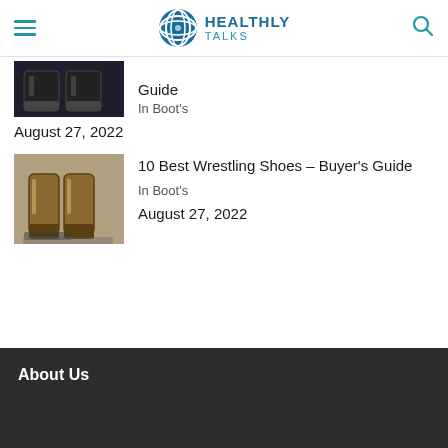HEALTHLY TALKS
[Figure (photo): Dark boots/shoes close-up photo (partially visible, top portion cut off)]
Guide
In Boot's
August 27, 2022
[Figure (photo): Wrestling boots/shoes close-up photo]
10 Best Wrestling Shoes – Buyer's Guide
In Boot's
August 27, 2022
About Us